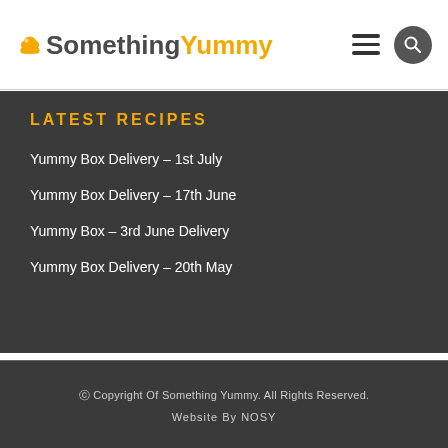Something Yummy
LATEST RECIPES
Yummy Box Delivery – 1st July
Yummy Box Delivery – 17th June
Yummy Box – 3rd June Delivery
Yummy Box Delivery – 20th May
© Copyright Of Something Yummy. All Rights Reserved.
Website By NOSY